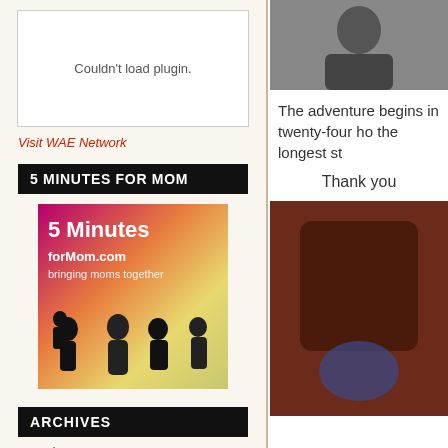[Figure (other): Plugin placeholder box with text 'Couldn't load plugin.']
Visit WAE Network
5 MINUTES FOR MOM
[Figure (logo): 5MinutesforMom.com logo with text 'bringing moms together' and silhouettes of mothers]
ARCHIVES
March 2014
February 2014
January 2014
December 2013
November 2013
October 2013
September 2013
[Figure (photo): Photo of a person in dark clothing at top right]
The adventure begins in twenty-four ho the longest st
Thank you
[Figure (photo): Photo with dark brown/reddish background at bottom right]